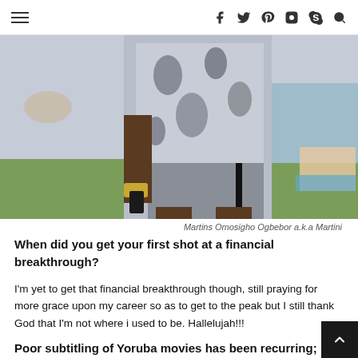Navigation and social icons header
[Figure (photo): Photo of Martins Omosigho Ogbebor a.k.a Martini standing outdoors near a pool, wearing a floral shirt and grey shorts, holding a phone, with a large watch on his wrist.]
Martins Omosigho Ogbebor a.k.a Martini
When did you get your first shot at a financial breakthrough?
I'm yet to get that financial breakthrough though, still praying for more grace upon my career so as to get to the peak but I still thank God that I'm not where i used to be. Hallelujah!!!
Poor subtitling of Yoruba movies has been recurring;